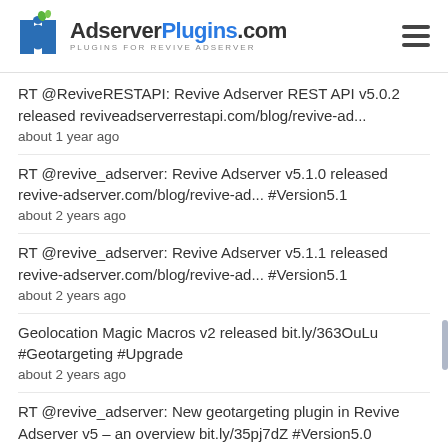AdserverPlugins.com — PLUGINS FOR REVIVE ADSERVER
RT @ReviveRESTAPI: Revive Adserver REST API v5.0.2 released reviveadserverrestapi.com/blog/revive-ad...
about 1 year ago
RT @revive_adserver: Revive Adserver v5.1.0 released revive-adserver.com/blog/revive-ad... #Version5.1
about 2 years ago
RT @revive_adserver: Revive Adserver v5.1.1 released revive-adserver.com/blog/revive-ad... #Version5.1
about 2 years ago
Geolocation Magic Macros v2 released bit.ly/363OuLu #Geotargeting #Upgrade
about 2 years ago
RT @revive_adserver: New geotargeting plugin in Revive Adserver v5 – an overview bit.ly/35pj7dZ #Version5.0